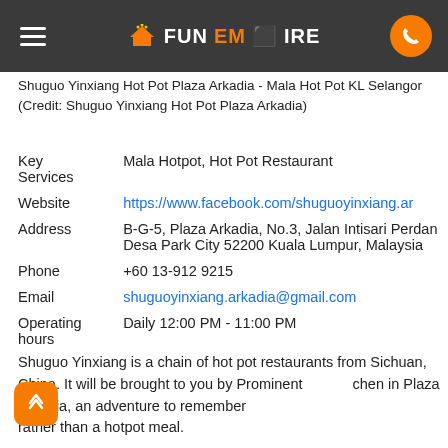FunEmpire
Shuguo Yinxiang Hot Pot Plaza Arkadia - Mala Hot Pot KL Selangor (Credit: Shuguo Yinxiang Hot Pot Plaza Arkadia)
| Field | Value |
| --- | --- |
| Key Services | Mala Hotpot, Hot Pot Restaurant |
| Website | https://www.facebook.com/shuguoyinxiang.ar |
| Address | B-G-5, Plaza Arkadia, No.3, Jalan Intisari Perdan Desa Park City 52200 Kuala Lumpur, Malaysia |
| Phone | +60 13-912 9215 |
| Email | shuguoyinxiang.arkadia@gmail.com |
| Operating hours | Daily 12:00 PM - 11:00 PM |
Shuguo Yinxiang is a chain of hot pot restaurants from Sichuan, China. It will be brought to you by Prominent chen in Plaza Arkadia, an adventure to remember rather than a hotpot meal.